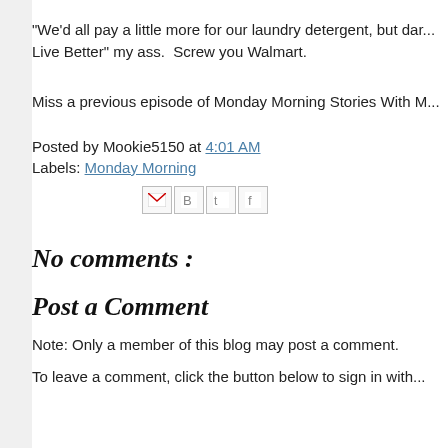"We'd all pay a little more for our laundry detergent, but dar... Live Better" my ass.  Screw you Walmart.
Miss a previous episode of Monday Morning Stories With M...
Posted by Mookie5150 at 4:01 AM
Labels: Monday Morning
[Figure (other): Share icons: Gmail, Blogger, Twitter, Facebook]
No comments :
Post a Comment
Note: Only a member of this blog may post a comment.
To leave a comment, click the button below to sign in with...